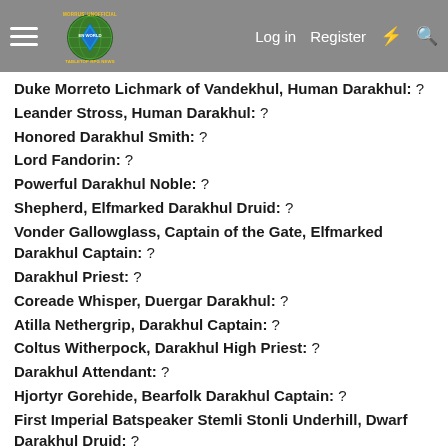Morrus' Unofficial Tabletop RPG News — Log in | Register
Duke Morreto Lichmark of Vandekhul, Human Darakhul: ?
Leander Stross, Human Darakhul: ?
Honored Darakhul Smith: ?
Lord Fandorin: ?
Powerful Darakhul Noble: ?
Shepherd, Elfmarked Darakhul Druid: ?
Vonder Gallowglass, Captain of the Gate, Elfmarked Darakhul Captain: ?
Darakhul Priest: ?
Coreade Whisper, Duergar Darakhul: ?
Atilla Nethergrip, Darakhul Captain: ?
Coltus Witherpock, Darakhul High Priest: ?
Darakhul Attendant: ?
Hjortyr Gorehide, Bearfolk Darakhul Captain: ?
First Imperial Batspeaker Stemli Stonli Underhill, Dwarf Darakhul Druid: ?